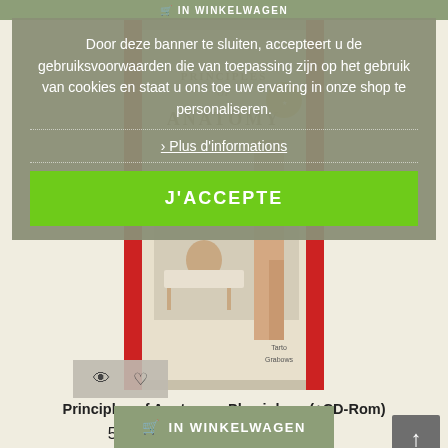[Figure (screenshot): E-commerce webpage showing a book product (Principles of Anatomy - Physiology +CD-Rom) with a cookie consent overlay banner in Dutch/French, a green accept button, book cover image, price display, and cart button.]
Door deze banner te sluiten, accepteert u de gebruiksvoorwaarden die van toepassing zijn op het gebruik van cookies en staat u ons toe uw ervaring in onze shop te personaliseren.
› Plus d'informations
J'ACCEPTE
Principles of Anatomy - Physiology (+CD-Rom)
52,34 € 55,09 € -5%
IN WINKELWAGEN